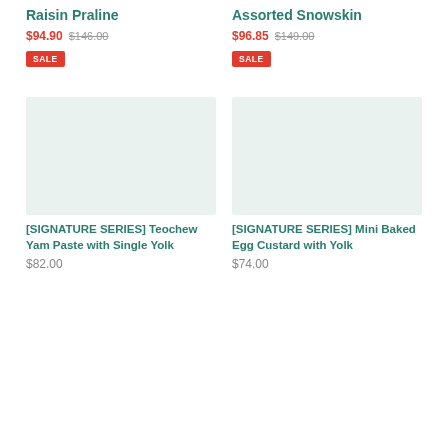Raisin Praline
$94.90 $146.00
SALE
Assorted Snowskin
$96.85 $149.00
SALE
[Figure (photo): Product image placeholder for Teochew Yam Paste with Single Yolk]
[SIGNATURE SERIES] Teochew Yam Paste with Single Yolk
$82.00
[Figure (photo): Product image placeholder for Mini Baked Egg Custard with Yolk]
[SIGNATURE SERIES] Mini Baked Egg Custard with Yolk
$74.00